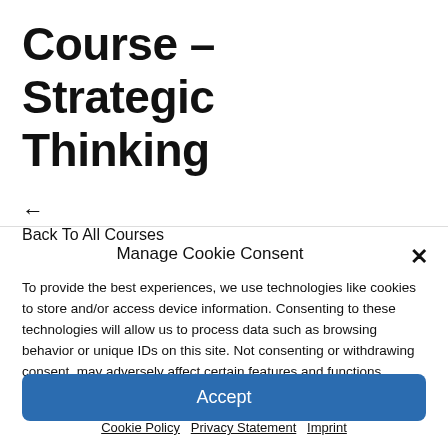Course – Strategic Thinking
← Back To All Courses
Manage Cookie Consent
To provide the best experiences, we use technologies like cookies to store and/or access device information. Consenting to these technologies will allow us to process data such as browsing behavior or unique IDs on this site. Not consenting or withdrawing consent, may adversely affect certain features and functions.
Accept
Cookie Policy   Privacy Statement   Imprint